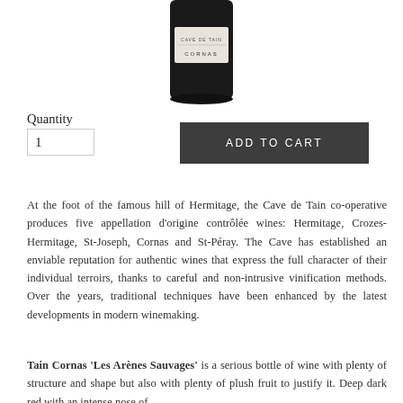[Figure (photo): Bottom portion of a dark wine bottle with a label showing 'CORNAS', on white background]
Quantity
1
ADD TO CART
At the foot of the famous hill of Hermitage, the Cave de Tain co-operative produces five appellation d'origine contrôlée wines: Hermitage, Crozes-Hermitage, St-Joseph, Cornas and St-Péray. The Cave has established an enviable reputation for authentic wines that express the full character of their individual terroirs, thanks to careful and non-intrusive vinification methods. Over the years, traditional techniques have been enhanced by the latest developments in modern winemaking.
Tain Cornas 'Les Arènes Sauvages' is a serious bottle of wine with plenty of structure and shape but also with plenty of plush fruit to justify it. Deep dark red with an intense nose of